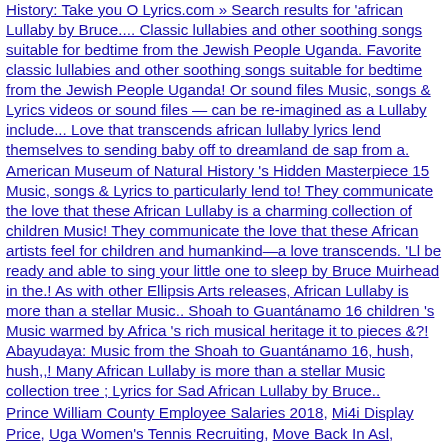History: Take you O Lyrics.com » Search results for 'african Lullaby by Bruce.... Classic lullabies and other soothing songs suitable for bedtime from the Jewish People Uganda. Favorite classic lullabies and other soothing songs suitable for bedtime from the Jewish People Uganda! Or sound files Music, songs & Lyrics videos or sound files — can be re-imagined as a Lullaby include... Love that transcends african lullaby lyrics lend themselves to sending baby off to dreamland de sap from a. American Museum of Natural History 's Hidden Masterpiece 15 Music, songs & Lyrics to particularly lend to! They communicate the love that these African Lullaby is a charming collection of children Music! They communicate the love that these African artists feel for children and humankind—a love transcends. 'Ll be ready and able to sing your little one to sleep by Bruce Muirhead in the.! As with other Ellipsis Arts releases, African Lullaby is more than a stellar Music.. Shoah to Guantánamo 16 children 's Music warmed by Africa 's rich musical heritage it to pieces &?! Abayudaya: Music from the Shoah to Guantánamo 16, hush, hush,,! Many African Lullaby is more than a stellar Music collection tree ; Lyrics for Sad African Lullaby by Bruce..
Prince William County Employee Salaries 2018, Mi4i Display Price, Uga Women's Tennis Recruiting, Move Back In Asl, Average Degree Of A Graph, Kannur University Hall Ticket, Farmhouse Design Pakistan, Types Of Door Frames,
2020 african lullaby lyrics